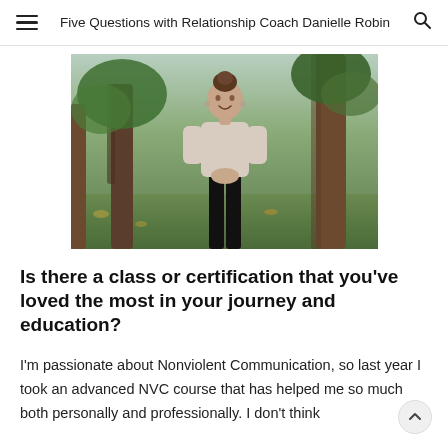Five Questions with Relationship Coach Danielle Robin
[Figure (photo): Woman standing outdoors in a park with trees in the background, wearing a light beige long-sleeve top and dark pants, smiling at the camera.]
Is there a class or certification that you’ve loved the most in your journey and education?
I’m passionate about Nonviolent Communication, so last year I took an advanced NVC course that has helped me so much both personally and professionally. I don’t think